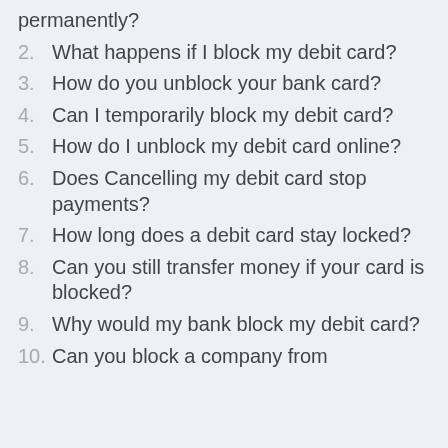permanently?
2. What happens if I block my debit card?
3. How do you unblock your bank card?
4. Can I temporarily block my debit card?
5. How do I unblock my debit card online?
6. Does Cancelling my debit card stop payments?
7. How long does a debit card stay locked?
8. Can you still transfer money if your card is blocked?
9. Why would my bank block my debit card?
10. Can you block a company from